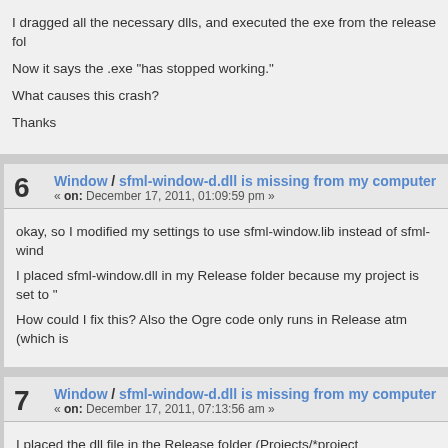I dragged all the necessary dlls, and executed the exe from the release folder.
Now it says the .exe "has stopped working."
What causes this crash?
Thanks
6  Window / sfml-window-d.dll is missing from my computer
« on: December 17, 2011, 01:09:59 pm »
okay, so I modified my settings to use sfml-window.lib instead of sfml-window-d.lib
I placed sfml-window.dll in my Release folder because my project is set to "Release"
How could I fix this? Also the Ogre code only runs in Release atm (which is
7  Window / sfml-window-d.dll is missing from my computer
« on: December 17, 2011, 07:13:56 am »
I placed the dll file in the Release folder (Projects/*project name*/Release)